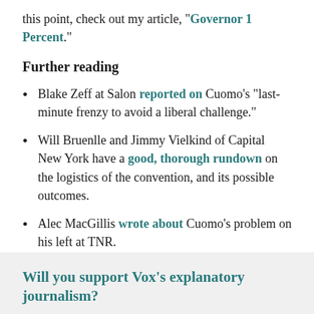this point, check out my article, "Governor 1 Percent."
Further reading
Blake Zeff at Salon reported on Cuomo's "last-minute frenzy to avoid a liberal challenge."
Will Bruenlle and Jimmy Vielkind of Capital New York have a good, thorough rundown on the logistics of the convention, and its possible outcomes.
Alec MacGillis wrote about Cuomo's problem on his left at TNR.
Will you support Vox's explanatory journalism?